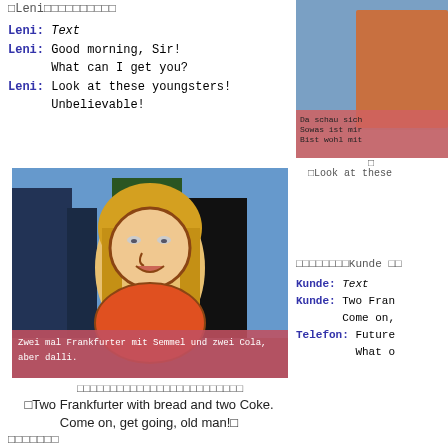□Leni□□□□□□□□□□
Leni: Text
Leni: Good morning, Sir!
      What can I get you?
Leni: Look at these youngsters!
      Unbelievable!
[Figure (screenshot): Animated game screenshot showing woman with blonde hair and pink subtitle bar reading 'Zwei mal Frankfurter mit Semmel und zwei Cola, aber dalli.']
[Figure (screenshot): Partial right-side screenshot with pink subtitle bar reading 'Da schau sich / Sowas ist mir / Bist wohl mit']
□
□Look at these
□□□□□□□□□□□□□□□□□□□□□□□□□
□Two Frankfurter with bread and two Coke. Come on, get going, old man!□
□□□□□□□□Kunde □□
Kunde: Text
Kunde: Two Fran
       Come on,
Telefon: Future
         What o
□□□□□□□